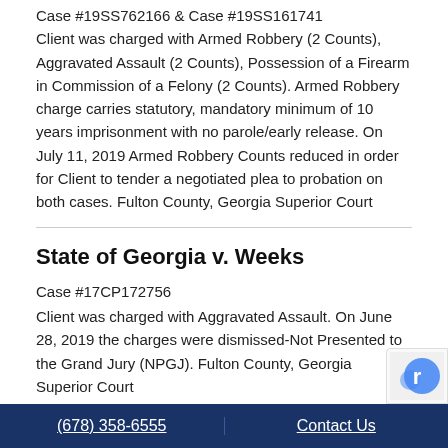Case #19SS762166 & Case #19SS161741
Client was charged with Armed Robbery (2 Counts), Aggravated Assault (2 Counts), Possession of a Firearm in Commission of a Felony (2 Counts). Armed Robbery charge carries statutory, mandatory minimum of 10 years imprisonment with no parole/early release. On July 11, 2019 Armed Robbery Counts reduced in order for Client to tender a negotiated plea to probation on both cases. Fulton County, Georgia Superior Court
State of Georgia v. Weeks
Case #17CP172756
Client was charged with Aggravated Assault. On June 28, 2019 the charges were dismissed-Not Presented to the Grand Jury (NPGJ). Fulton County, Georgia Superior Court
United States v. Duenas-Alfaro
(678) 358-6555   Contact Us